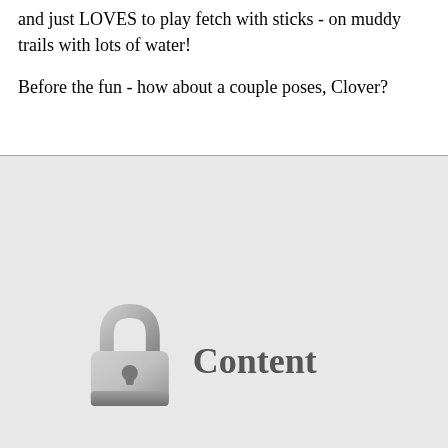and just LOVES to play fetch with sticks - on muddy trails with lots of water!
Before the fun - how about a couple poses, Clover?
[Figure (other): A locked content placeholder image showing a padlock icon and the word 'Content' in bold gray text on a light gray background.]